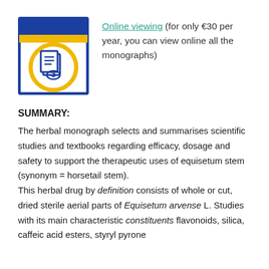[Figure (illustration): Document/monograph icon with blue border, yellow top bar, yellow circle with document and eye symbol in blue]
Online viewing (for only €30 per year, you can view online all the monographs)
SUMMARY:
The herbal monograph selects and summarises scientific studies and textbooks regarding efficacy, dosage and safety to support the therapeutic uses of equisetum stem (synonym = horsetail stem). This herbal drug by definition consists of whole or cut, dried sterile aerial parts of Equisetum arvense L. Studies with its main characteristic constituents flavonoids, silica, caffeic acid esters, styryl pyrone